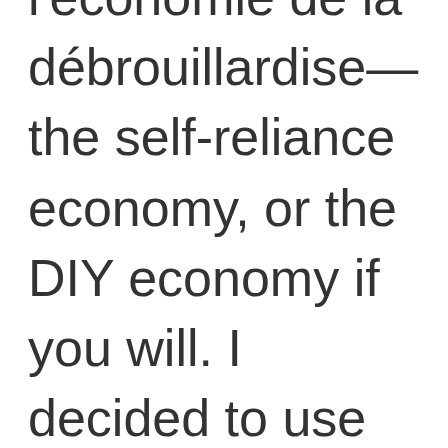l'économie de la débrouillardise—the self-reliance economy, or the DIY economy if you will. I decided to use this term myself